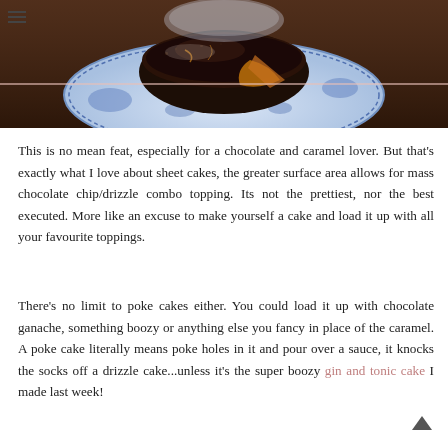[Figure (photo): A chocolate poke cake with caramel filling on a blue and white decorative plate, photographed on a dark wooden surface. The cake appears to be dark chocolate with a glossy topping, with a slice removed showing the caramel interior.]
This is no mean feat, especially for a chocolate and caramel lover. But that's exactly what I love about sheet cakes, the greater surface area allows for mass chocolate chip/drizzle combo topping. Its not the prettiest, nor the best executed. More like an excuse to make yourself a cake and load it up with all your favourite toppings.
There's no limit to poke cakes either. You could load it up with chocolate ganache, something boozy or anything else you fancy in place of the caramel. A poke cake literally means poke holes in it and pour over a sauce, it knocks the socks off a drizzle cake...unless it's the super boozy gin and tonic cake I made last week!